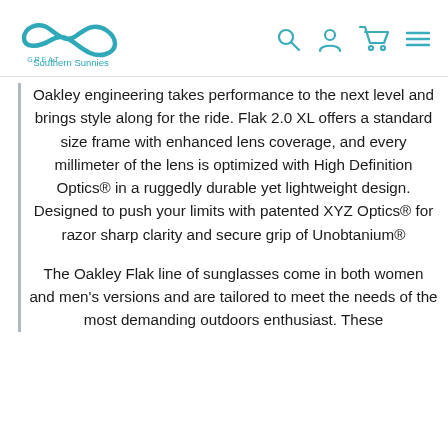Great Southern Sunnies
Oakley engineering takes performance to the next level and brings style along for the ride. Flak 2.0 XL offers a standard size frame with enhanced lens coverage, and every millimeter of the lens is optimized with High Definition Optics® in a ruggedly durable yet lightweight design. Designed to push your limits with patented XYZ Optics® for razor sharp clarity and secure grip of Unobtanium®
The Oakley Flak line of sunglasses come in both women and men's versions and are tailored to meet the needs of the most demanding outdoors enthusiast. These